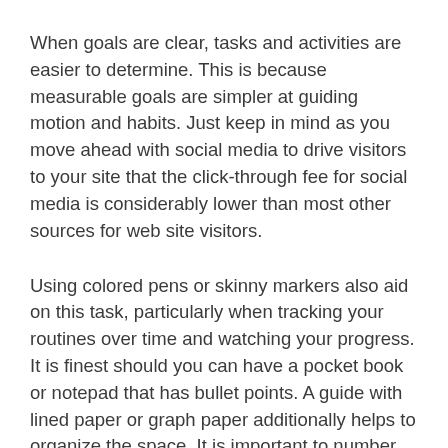When goals are clear, tasks and activities are easier to determine. This is because measurable goals are simpler at guiding motion and habits. Just keep in mind as you move ahead with social media to drive visitors to your site that the click-through fee for social media is considerably lower than most other sources for web site visitors.
Using colored pens or skinny markers also aid on this task, particularly when tracking your routines over time and watching your progress. It is finest should you can have a pocket book or notepad that has bullet points. A guide with lined paper or graph paper additionally helps to organize the space. It is important to number the pages to find a way to index the primary contents of your planner similar to with annual, monthly and weekly calendars. It can be important to create specific lists of your pursuits corresponding to a exercise routine or